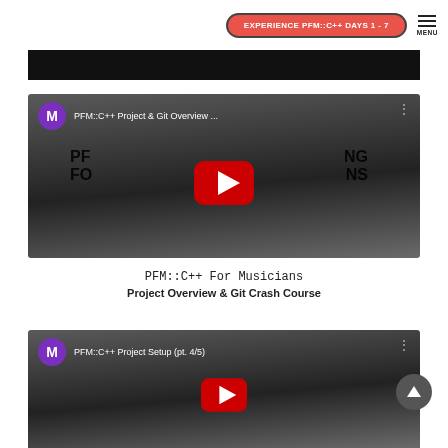EXPERIENCE PFM::C++ DAYS 1 - 7
[Figure (screenshot): Black banner bar at top of content area]
[Figure (screenshot): YouTube video thumbnail for 'PFM::C++ Project & Git Overview ...' with purple M avatar, gradient gray background, and YouTube play button overlaid on 'PROGRAMMING FOR MUSICIANS' text]
PFM::C++ For Musicians
Project Overview & Git Crash Course
[Figure (screenshot): YouTube video thumbnail for 'PFM::C++ Project Setup (pt. 4/5)' with purple M avatar and gradient gray background, partially visible]